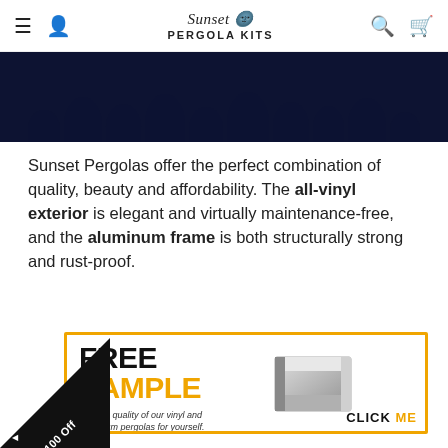Sunset Pergola Kits — navigation header with menu, account, search, cart icons
[Figure (photo): Dark navy blue banner image with decorative wave/bump shapes along the top edge, cropped at top]
Sunset Pergolas offer the perfect combination of quality, beauty and affordability. The all-vinyl exterior is elegant and virtually maintenance-free, and the aluminum frame is both structurally strong and rust-proof.
[Figure (infographic): Free Sample promotional banner with gold border. Text reads FREE SAMPLE See the quality of our vinyl and aluminum pergolas for yourself. CLICK ME. Shows an image of an aluminum/vinyl pergola profile piece on the right side.]